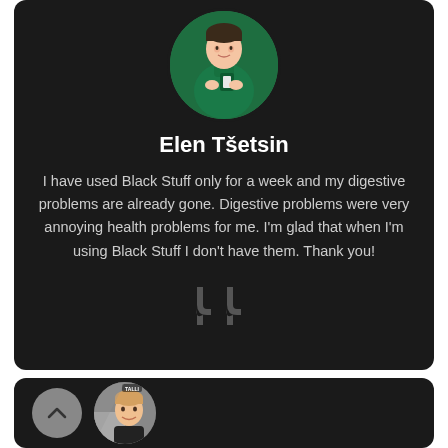[Figure (photo): Circular avatar photo of a person in green medical scrubs holding a badge, cropped to circle]
Elen Tšetsin
I have used Black Stuff only for a week and my digestive problems are already gone. Digestive problems were very annoying health problems for me. I'm glad that when I'm using Black Stuff I don't have them. Thank you!
[Figure (illustration): Large closing double-quotation marks icon in grey]
[Figure (photo): Circular avatar of a young smiling man with 'TALLI' label visible at top, partially cropped]